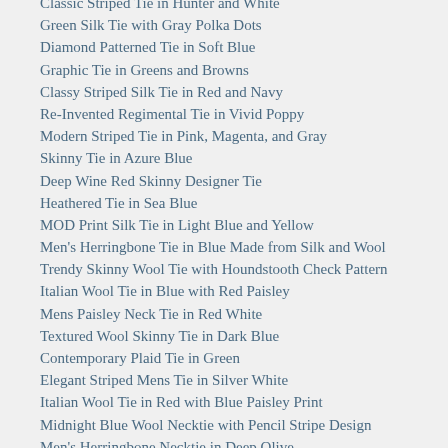Classic Striped Tie in Hunter and White
Green Silk Tie with Gray Polka Dots
Diamond Patterned Tie in Soft Blue
Graphic Tie in Greens and Browns
Classy Striped Silk Tie in Red and Navy
Re-Invented Regimental Tie in Vivid Poppy
Modern Striped Tie in Pink, Magenta, and Gray
Skinny Tie in Azure Blue
Deep Wine Red Skinny Designer Tie
Heathered Tie in Sea Blue
MOD Print Silk Tie in Light Blue and Yellow
Men's Herringbone Tie in Blue Made from Silk and Wool
Trendy Skinny Wool Tie with Houndstooth Check Pattern
Italian Wool Tie in Blue with Red Paisley
Mens Paisley Neck Tie in Red White
Textured Wool Skinny Tie in Dark Blue
Contemporary Plaid Tie in Green
Elegant Striped Mens Tie in Silver White
Italian Wool Tie in Red with Blue Paisley Print
Midnight Blue Wool Necktie with Pencil Stripe Design
Men's Herringbone Necktie in Deep Olive
Festive Silver Striped Clip-On Tie
Havana Plaid Tie in Green and Brown
Diagonal Striped Tie in Teal
Skinny Seersucker Tie in Red and Blue